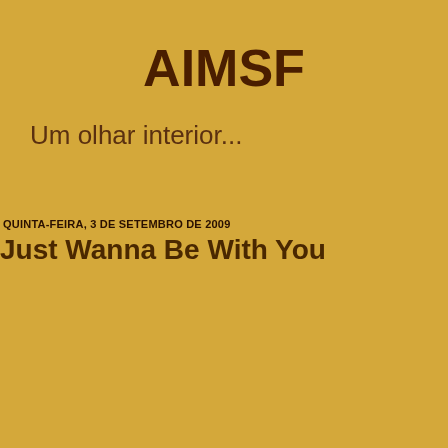AIMSF
Um olhar interior...
QUINTA-FEIRA, 3 DE SETEMBRO DE 2009
Just Wanna Be With You